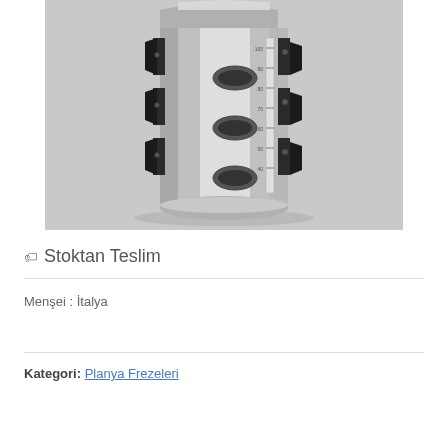[Figure (photo): A cylindrical CNC milling cutter / planer head tool made of silver-grey aluminum/steel with three oval slots and attached black carbide inserts on the sides, with a measurement scale visible on the right side. The tool is photographed against a light grey background.]
🏷 Stoktan Teslim
Menşei : İtalya
Kategori: Planya Frezeleri